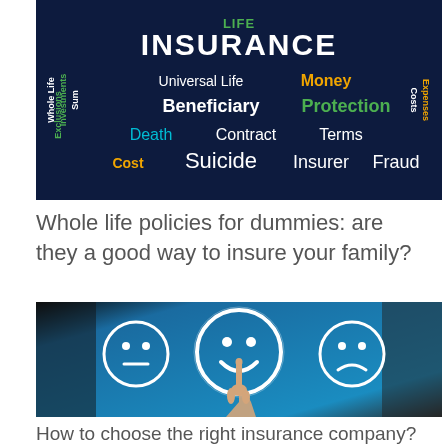[Figure (illustration): Life insurance word cloud on dark navy background with colorful terms: INSURANCE, Universal Life, Money, Beneficiary, Protection, Death, Contract, Terms, Cost, Suicide, Insurer, Fraud, Whole Life, Sum, Investments, Exclusions, Costs, Expenses]
Whole life policies for dummies: are they a good way to insure your family?
[Figure (photo): Hand pointing at a glowing happy smiley face among three face icons (neutral, happy, sad) on a blue background — customer satisfaction concept]
How to choose the right insurance company?